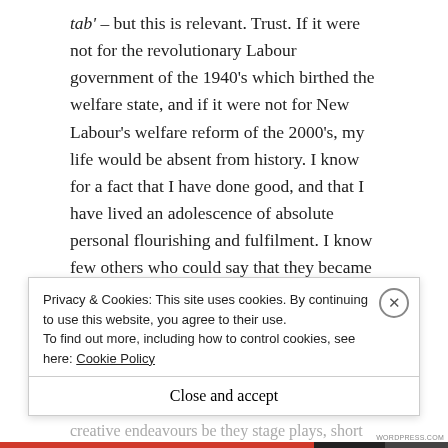tab' – but this is relevant. Trust. If it were not for the revolutionary Labour government of the 1940's which birthed the welfare state, and if it were not for New Labour's welfare reform of the 2000's, my life would be absent from history. I know for a fact that I have done good, and that I have lived an adolescence of absolute personal flourishing and fulfilment. I know few others who could say that they became News Editor of a geek culture website at the age of 12, or that they interviewed the writer and director of Iron Man 3 at the age of 13, or that they have pursued multiple creative endeavours be they stage plays, short films…
Privacy & Cookies: This site uses cookies. By continuing to use this website, you agree to their use.
To find out more, including how to control cookies, see here: Cookie Policy
Close and accept